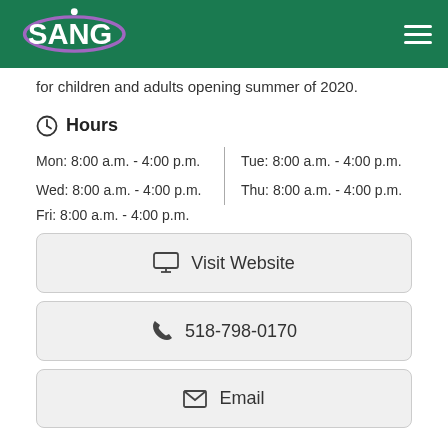SANG
for children and adults opening summer of 2020.
Hours
Mon: 8:00 a.m. - 4:00 p.m. | Tue: 8:00 a.m. - 4:00 p.m. | Wed: 8:00 a.m. - 4:00 p.m. | Thu: 8:00 a.m. - 4:00 p.m. | Fri: 8:00 a.m. - 4:00 p.m.
Visit Website
518-798-0170
Email